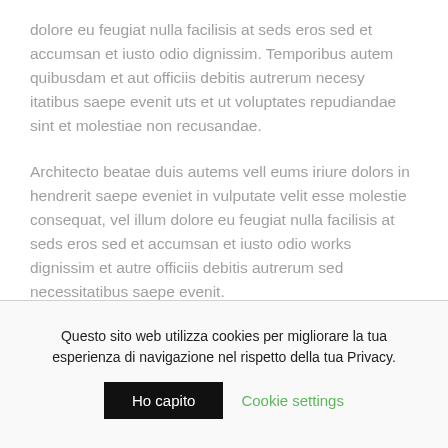dolore eu feugiat nulla facilisis at seds eros sed et accumsan et iusto odio dignissim. Temporibus autem quibusdam et aut officiis debitis autrerum necesy itatibus saepe evenit uts et ut voluptates repudiandae sint et molestiae non recusandae.
Architecto beatae duis autems vell eums iriure dolors in hendrerit saepe eveniet in vulputate velit esse molestie consequat, vel illum dolore eu feugiat nulla facilisis at seds eros sed et accumsan et iusto odio works dignissim et autre officiis debitis autrerum sed necessitatibus saepe evenit.
Questo sito web utilizza cookies per migliorare la tua esperienza di navigazione nel rispetto della tua Privacy.
Ho capito
Cookie settings